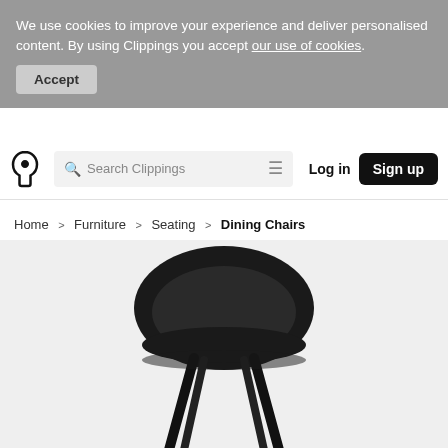We use cookies to improve your experience and deliver personalised content. By using Clippings you accept our use of cookies.
Accept
Search Clippings | Log in | Sign up
Home > Furniture > Seating > Dining Chairs
[Figure (photo): A modern black shell dining chair with four black wooden legs, shot on a light grey background.]